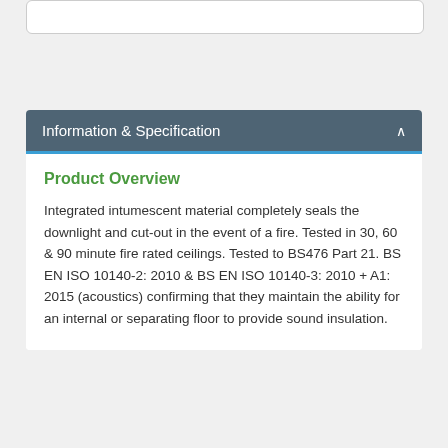Information & Specification
Product Overview
Integrated intumescent material completely seals the downlight and cut-out in the event of a fire. Tested in 30, 60 & 90 minute fire rated ceilings. Tested to BS476 Part 21. BS EN ISO 10140-2: 2010 & BS EN ISO 10140-3: 2010 + A1: 2015 (acoustics) confirming that they maintain the ability for an internal or separating floor to provide sound insulation.